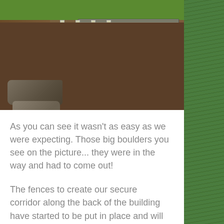[Figure (photo): Construction/excavation site photo showing a dug-out area with dark gravel/rubble floor, stone retaining walls on the right and back, wooden fence posts, large boulders/rocks in the foreground left, and grass at the top edges.]
As you can see it wasn't as easy as we were expecting. Those big boulders you see on the picture... they were in the way and had to come out!
The fences to create our secure corridor along the back of the building have started to be put in place and will keep all our dogs safe and prevent any escape artists from showing us their